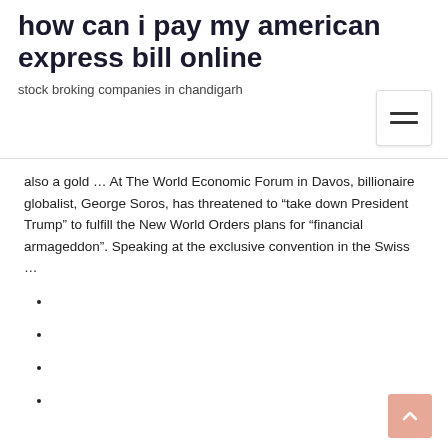how can i pay my american express bill online
stock broking companies in chandigarh
also a gold … At The World Economic Forum in Davos, billionaire globalist, George Soros, has threatened to “take down President Trump” to fulfill the New World Orders plans for “financial armageddon”. Speaking at the exclusive convention in the Swiss …